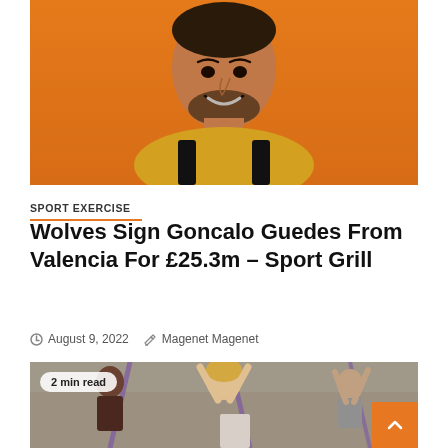[Figure (photo): Male footballer in yellow/gold and black jersey against orange background, smiling upward]
SPORT EXERCISE
Wolves Sign Goncalo Guedes From Valencia For £25.3m – Sport Grill
August 9, 2022   Magenet Magenet
[Figure (photo): People doing exercise with gym bars/poles. Badge overlay: 2 min read. Orange scroll-to-top button with chevron.]